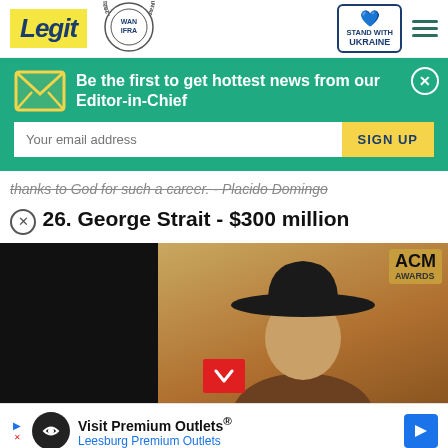Legit | WAN IFRA 2021 Best News Website in Africa | Stand With Ukraine
Be the first to get hottest news from our Editor-in-Chief
Your email address | SIGN UP
thanks to God for such a career. - Placido Domingo
26. George Strait - $300 million
[Figure (photo): George Strait wearing a black cowboy hat at ACM Awards]
Visit Premium Outlets® Leesburg Premium Outlets